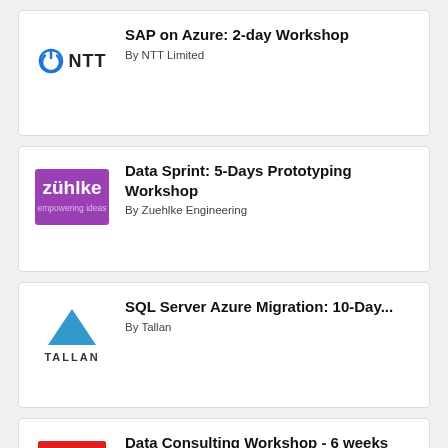[Figure (logo): NTT Limited logo with blue power-button icon and NTT text]
SAP on Azure: 2-day Workshop
By NTT Limited
[Figure (logo): Zühlke Engineering purple logo with text 'zühlke empowering ideas']
Data Sprint: 5-Days Prototyping Workshop
By Zuehlke Engineering
[Figure (logo): Tallan logo with blue triangle and TALLAN text]
SQL Server Azure Migration: 10-Day...
By Tallan
[Figure (logo): Sonata Software logo with red SONATA text and barcode graphic]
Data Consulting Workshop - 6 weeks
By Sonata Software Ltd.
Azure Analytics: 1-Day Workshop